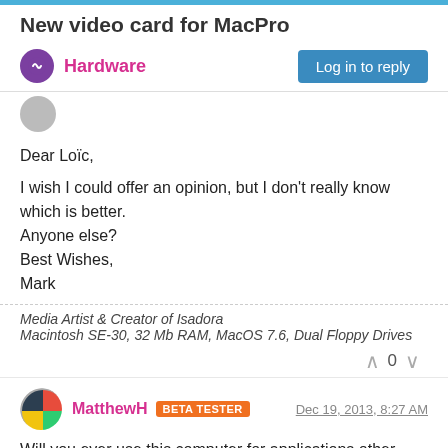New video card for MacPro
Hardware
Dear Loïc,

I wish I could offer an opinion, but I don't really know which is better.
Anyone else?
Best Wishes,
Mark
Media Artist & Creator of Isadora
Macintosh SE-30, 32 Mb RAM, MacOS 7.6, Dual Floppy Drives
MatthewH BETA TESTER Dec 19, 2013, 8:27 AM
Will you ever use this computer for applications other than Isadora? For Isadora it shouldn't make a huge difference but if you will ever want to use the computer for editing, rendering, 3D work, etc it can make a huge difference.